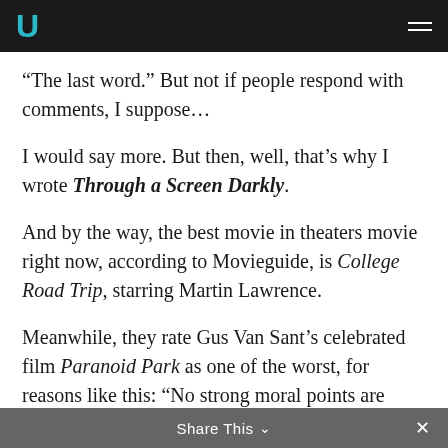U [logo] [hamburger menu]
“The last word.” But not if people respond with comments, I suppose…
I would say more. But then, well, that’s why I wrote Through a Screen Darkly.
And by the way, the best movie in theaters movie right now, according to Movieguide, is College Road Trip, starring Martin Lawrence.
Meanwhile, they rate Gus Van Sant’s celebrated film Paranoid Park as one of the worst, for reasons like this: “No strong moral points are made…” and “… the main character is somewhat androgynous and
Share This ∨ ×